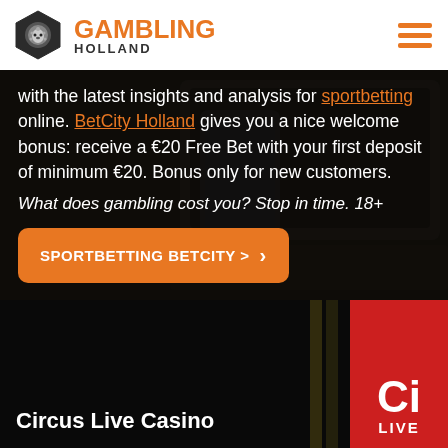[Figure (logo): Gambling Holland logo with hexagon lion icon and orange GAMBLING HOLLAND text, plus hamburger menu icon]
with the latest insights and analysis for sportbetting online. BetCity Holland gives you a nice welcome bonus: receive a €20 Free Bet with your first deposit of minimum €20. Bonus only for new customers.
What does gambling cost you? Stop in time. 18+
SPORTBETTING BETCITY >
Circus Live Casino